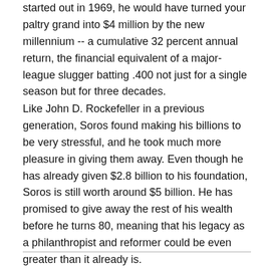started out in 1969, he would have turned your paltry grand into $4 million by the new millennium -- a cumulative 32 percent annual return, the financial equivalent of a major-league slugger batting .400 not just for a single season but for three decades.
Like John D. Rockefeller in a previous generation, Soros found making his billions to be very stressful, and he took much more pleasure in giving them away. Even though he has already given $2.8 billion to his foundation, Soros is still worth around $5 billion. He has promised to give away the rest of his wealth before he turns 80, meaning that his legacy as a philanthropist and reformer could be even greater than it already is.